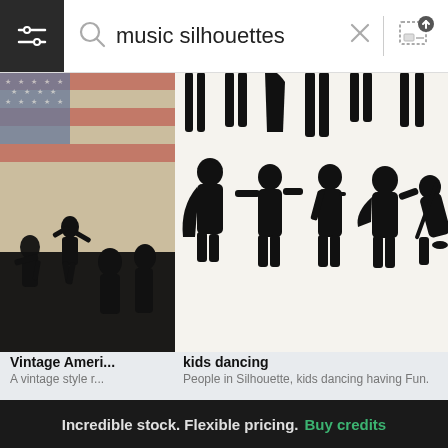[Figure (screenshot): Search bar UI with filter/settings icon on dark background, magnifying glass icon, search input showing 'music silhouettes', X clear button, and image upload icon]
[Figure (photo): Vintage American style rock concert silhouettes on distressed US flag background]
[Figure (illustration): Black silhouettes of kids dancing and playing, people in silhouette on white background]
Vintage Ameri...
A vintage style r...
kids dancing
People in Silhouette, kids dancing having Fun.
1 of 100
Next >
Incredible stock. Flexible pricing. Buy credits